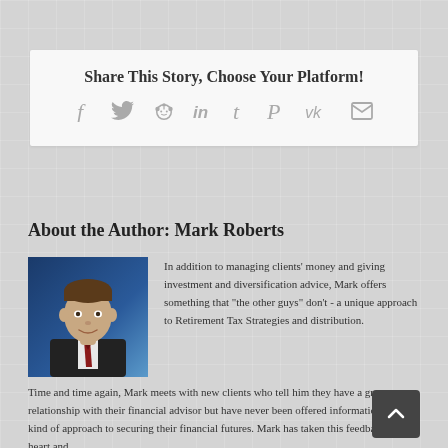Share This Story, Choose Your Platform!
[Figure (infographic): Social sharing icons: Facebook, Twitter, Reddit, LinkedIn, Tumblr, Pinterest, VK, Email]
About the Author: Mark Roberts
[Figure (photo): Headshot of Mark Roberts, a man in a dark suit with a tie, smiling, against a blue background]
In addition to managing clients' money and giving investment and diversification advice, Mark offers something that "the other guys" don't - a unique approach to Retirement Tax Strategies and distribution. Time and time again, Mark meets with new clients who tell him they have a great relationship with their financial advisor but have never been offered information on this kind of approach to securing their financial futures. Mark has taken this feedback to heart and